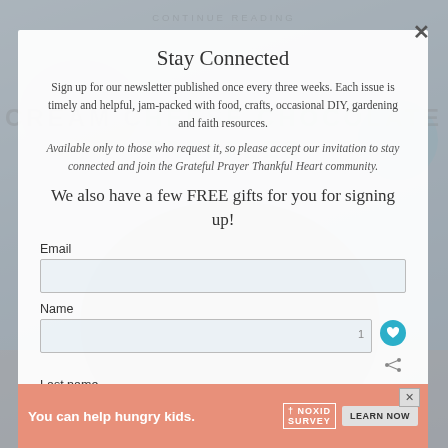[Figure (photo): Background image of chocolate truffles on a colorful surface, partially visible behind modal overlay]
Stay Connected
Sign up for our newsletter published once every three weeks. Each issue is timely and helpful, jam-packed with food, crafts, occasional DIY, gardening and faith resources.
Available only to those who request it, so please accept our invitation to stay connected and join the Grateful Prayer Thankful Heart community.
We also have a few FREE gifts for you for signing up!
Email
Name
Last name
You can help hungry kids.
LEARN NOW